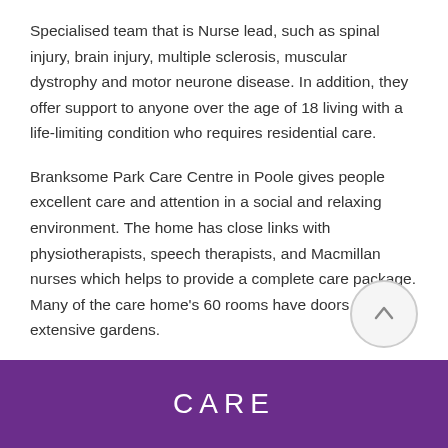Specialised team that is Nurse lead, such as spinal injury, brain injury, multiple sclerosis, muscular dystrophy and motor neurone disease. In addition, they offer support to anyone over the age of 18 living with a life-limiting condition who requires residential care.
Branksome Park Care Centre in Poole gives people excellent care and attention in a social and relaxing environment. The home has close links with physiotherapists, speech therapists, and Macmillan nurses which helps to provide a complete care package. Many of the care home's 60 rooms have doors onto the extensive gardens.
CARE